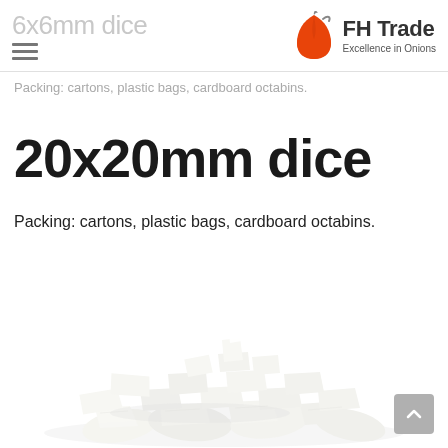6x6mm dice / FH Trade Excellence in Onions
Packing: cartons, plastic bags, cardboard octabins.
20x20mm dice
Packing: cartons, plastic bags, cardboard octabins.
[Figure (photo): A pile of white diced onions (20x20mm dice) on a white background]